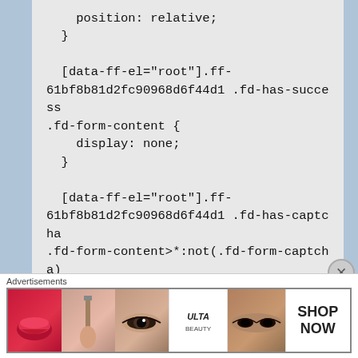position: relative;
  }

  [data-ff-el="root"].ff-61bf8b81d2fc90968d6f44d1 .fd-has-success .fd-form-content {
    display: none;
  }

  [data-ff-el="root"].ff-61bf8b81d2fc90968d6f44d1 .fd-has-captcha .fd-form-content>*:not(.fd-form-captcha) {
    opacity: 0;
[Figure (other): Advertisement banner for ULTA Beauty showing cosmetics images (lips, makeup brush, eye, ULTA logo, eyes, SHOP NOW text) with close button]